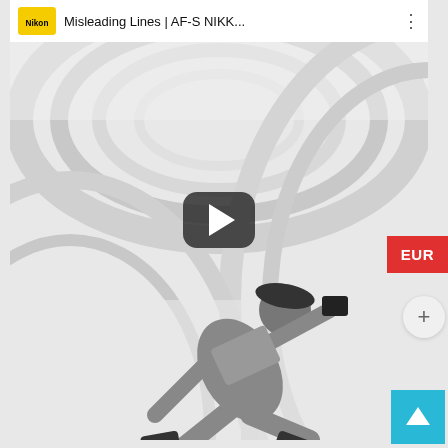[Figure (screenshot): Screenshot of a YouTube video thumbnail showing a person in mid-air performing a dynamic pose inside a white curved architectural space, with a Nikon channel logo and title 'Misleading Lines | AF-S NIKK...' in the top bar, a play button overlay in the center, an EUR red button on the right side, a plus circular button, and a cyan up-arrow button at bottom right.]